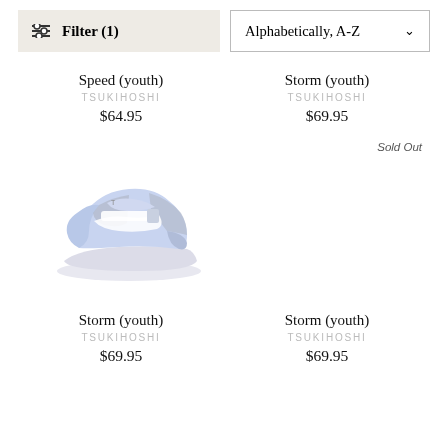Filter (1)
Alphabetically, A-Z
Speed (youth)
TSUKIHOSHI
$64.95
Storm (youth)
TSUKIHOSHI
$69.95
Sold Out
[Figure (photo): A light blue and grey youth sneaker (Tsukihoshi Storm) shown from a 3/4 angle on white background]
Storm (youth)
TSUKIHOSHI
$69.95
Storm (youth)
TSUKIHOSHI
$69.95